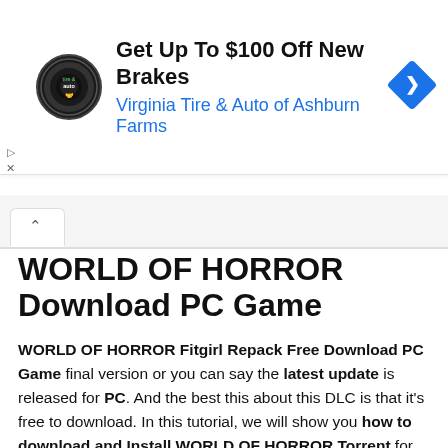[Figure (infographic): Advertisement banner for Virginia Tire & Auto of Ashburn Farms with logo, headline 'Get Up To $100 Off New Brakes', subline 'Virginia Tire & Auto of Ashburn Farms', and a blue navigation arrow diamond icon on the right.]
WORLD OF HORROR Download PC Game
WORLD OF HORROR Fitgirl Repack Free Download PC Game final version or you can say the latest update is released for PC. And the best this about this DLC is that it's free to download. In this tutorial, we will show you how to download and Install WORLD OF HORROR Torrent for free. Before you download and install this awesome game on your computer note that this game is highly compressed and is the repack version of this game.